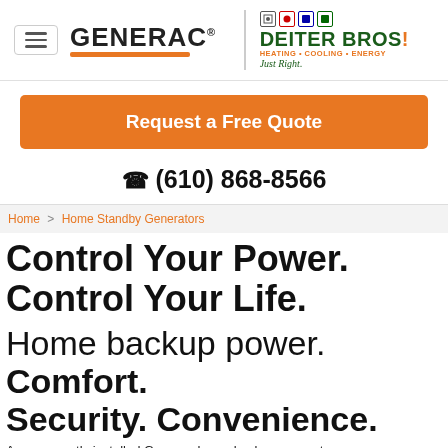[Figure (logo): Generac logo with orange underbar and Deiter Bros Heating Cooling Energy logo with green and orange branding]
Request a Free Quote
☎ (610) 868-8566
Home > Home Standby Generators
Control Your Power. Control Your Life.
Home backup power. Comfort. Security. Convenience.
A permanently installed Generac home backup generator protects your home automatically. It runs on natural gas or